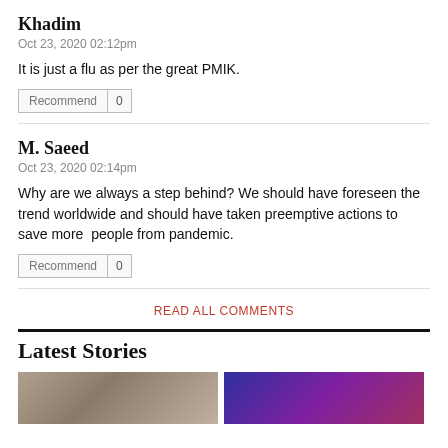Khadim
Oct 23, 2020 02:12pm
It is just a flu as per the great PMIK.
Recommend | 0
M. Saeed
Oct 23, 2020 02:14pm
Why are we always a step behind? We should have foreseen the trend worldwide and should have taken preemptive actions to save more  people from pandemic.
Recommend | 0
READ ALL COMMENTS
Latest Stories
[Figure (photo): Two side-by-side news story thumbnail images at the bottom of the page]